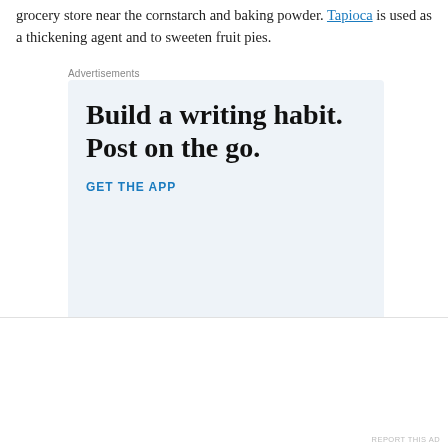grocery store near the cornstarch and baking powder. Tapioca is used as a thickening agent and to sweeten fruit pies.
Advertisements
[Figure (other): Advertisement for WordPress app: 'Build a writing habit. Post on the go.' with a GET THE APP call-to-action and WordPress logo icon on a light blue background.]
REPORT THIS AD
[Figure (photo): Partial image strip at the bottom of the page showing a dark reddish-brown image, with a close/dismiss button on the right side.]
Advertisements
REPORT THIS AD